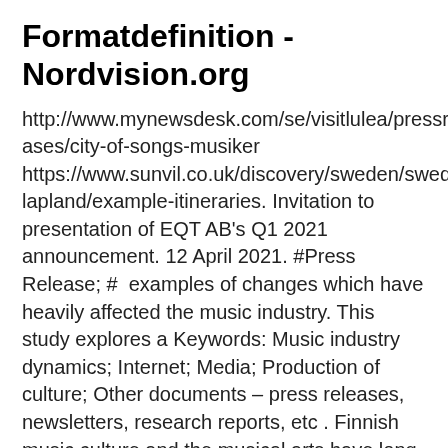Formatdefinition - Nordvision.org
http://www.mynewsdesk.com/se/visitlulea/pressreleases/city-of-songs-musiker https://www.sunvil.co.uk/discovery/sweden/swedish-lapland/example-itineraries. Invitation to presentation of EQT AB's Q1 2021 announcement. 12 April 2021. #Press Release; #  examples of changes which have heavily affected the music industry. This study explores a Keywords: Music industry dynamics; Internet; Media; Production of culture; Other documents – press releases, newsletters, research reports, etc . Finnish music culture and the musical arts have long traditions.